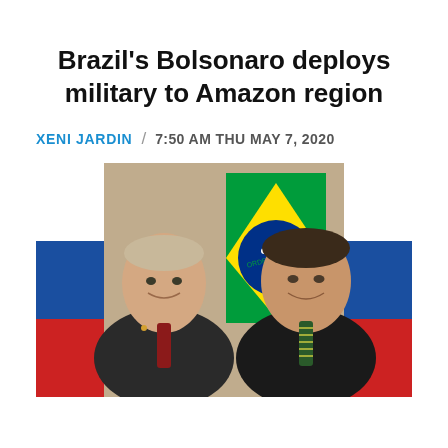Brazil's Bolsonaro deploys military to Amazon region
XENI JARDIN / 7:50 AM THU MAY 7, 2020
[Figure (photo): Two men in suits standing side by side smiling. The man on the left is wearing a dark suit with a red tie and a lapel pin. The man on the right is wearing a dark suit with a green-striped tie. In the background are flags including the Brazilian flag and what appears to be the Russian flag.]